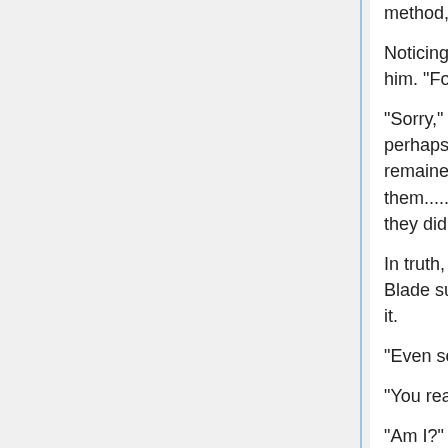method, it actually worked.
Noticing how he looked relieved, Felli glared at him. "Fon Fon......"
"Sorry," he lowered his head. "As you said, perhaps it was better if I didn't say anything and remained alone. But I already told them......Although I might have kept it a secret if they didn't know."
In truth, the girls connected the term Heaven's Blade successor with Layfon when they heard of it.
"Even so, I can't keep hiding it."
"You really are an idiot."
"Am I?"
"Yes," she decided. For some reason, the atmosphere between them had turned into the best. Probably because they had returned to the feeling they